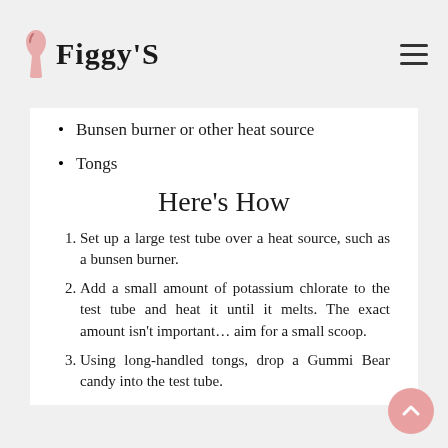Figgy'S
Bunsen burner or other heat source
Tongs
Here's How
Set up a large test tube over a heat source, such as a bunsen burner.
Add a small amount of potassium chlorate to the test tube and heat it until it melts. The exact amount isn't important… aim for a small scoop.
Using long-handled tongs, drop a Gummi Bear candy into the test tube.